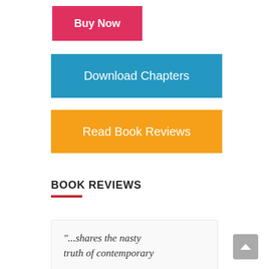[Figure (other): Red 'Buy Now' button]
[Figure (other): Blue 'Download Chapters' button]
[Figure (other): Orange 'Read Book Reviews' button]
BOOK REVIEWS
"...shares the nasty truth of contemporary